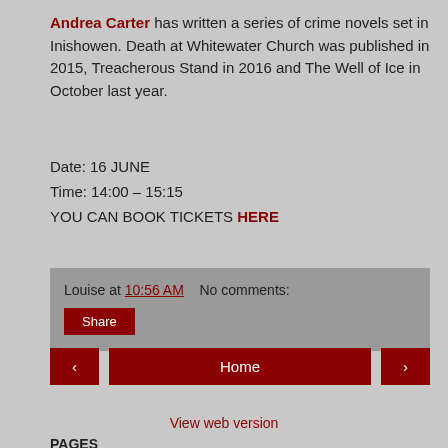Andrea Carter has written a series of crime novels set in Inishowen. Death at Whitewater Church was published in 2015, Treacherous Stand in 2016 and The Well of Ice in October last year.
Date: 16 JUNE
Time: 14:00 – 15:15
YOU CAN BOOK TICKETS HERE
Louise at 10:56 AM   No comments:
Share
‹   Home   ›
View web version
PAGES